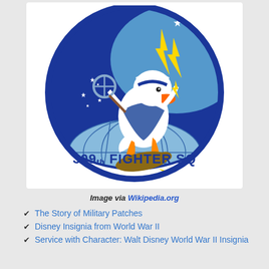[Figure (logo): 309th Fighter Squadron military patch/insignia featuring a cartoon duck (Donald Duck style) in blue uniform riding a bomb and wielding a lightning bolt, on a blue circular background with stars and a globe, with banner reading '309th FIGHTER SQ']
Image via Wikipedia.org
The Story of Military Patches
Disney Insignia from World War II
Service with Character: Walt Disney World War II Insignia